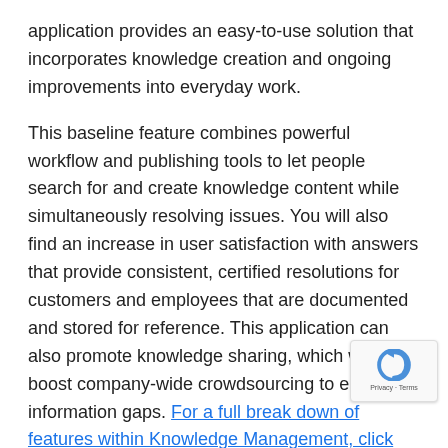application provides an easy-to-use solution that incorporates knowledge creation and ongoing improvements into everyday work.
This baseline feature combines powerful workflow and publishing tools to let people search for and create knowledge content while simultaneously resolving issues. You will also find an increase in user satisfaction with answers that provide consistent, certified resolutions for customers and employees that are documented and stored for reference. This application can also promote knowledge sharing, which will boost company-wide crowdsourcing to eliminate information gaps. For a full break down of features within Knowledge Management, click here.
When resolving or deflecting cases, new knowledge be incorporated to address business needs, giving you